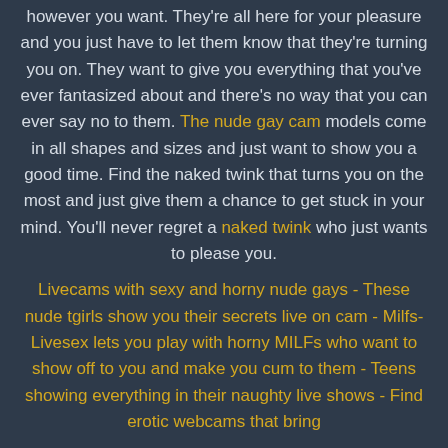however you want. They're all here for your pleasure and you just have to let them know that they're turning you on. They want to give you everything that you've ever fantasized about and there's no way that you can ever say no to them. The nude gay cam models come in all shapes and sizes and just want to show you a good time. Find the naked twink that turns you on the most and just give them a chance to get stuck in your mind. You'll never regret a naked twink who just wants to please you.
Livecams with sexy and horny nude gays - These nude tgirls show you their secrets live on cam - Milfs-Livesex lets you play with horny MILFs who want to show off to you and make you cum to them - Teens showing everything in their naughty live shows - Find erotic webcams that bring